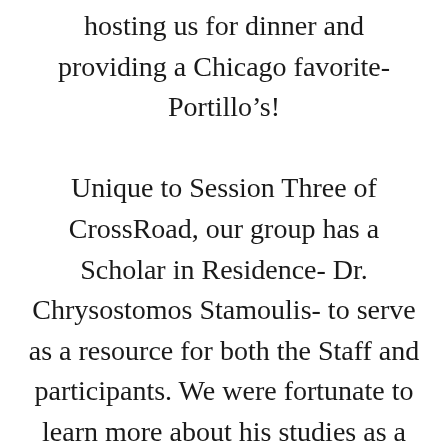hosting us for dinner and providing a Chicago favorite- Portillo’s!

Unique to Session Three of CrossRoad, our group has a Scholar in Residence- Dr. Chrysostomos Stamoulis- to serve as a resource for both the Staff and participants. We were fortunate to learn more about his studies as a Theologian and ask him some questions through a Q&A led by Kyra. We are so grateful to our professors for providing so much